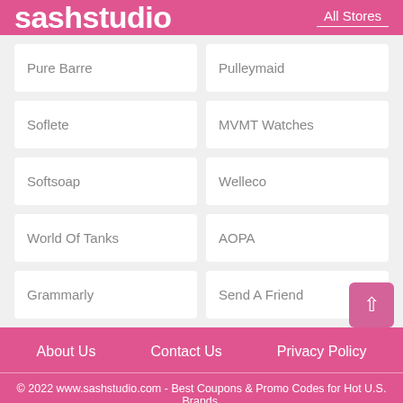sashstudio  All Stores
Pure Barre
Pulleymaid
Soflete
MVMT Watches
Softsoap
Welleco
World Of Tanks
AOPA
Grammarly
Send A Friend
About Us   Contact Us   Privacy Policy
© 2022 www.sashstudio.com - Best Coupons & Promo Codes for Hot U.S. Brands.